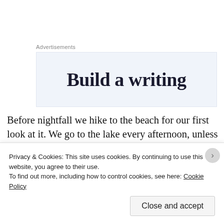Advertisements
[Figure (other): Advertisement banner showing partial text 'Build a writing']
Before nightfall we hike to the beach for our first look at it. We go to the lake every afternoon, unless the weather's absolutely horrible. But, when the day's cold and gusty it's really the best time, because there are huge waves, the wind is blowing hard, and the surf is smashing you. When we come out for a break the counselors have a snack set up for us, and later we go back i
Privacy & Cookies: This site uses cookies. By continuing to use this website, you agree to their use.
To find out more, including how to control cookies, see here: Cookie Policy
Close and accept